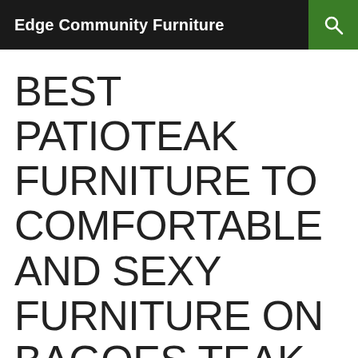Edge Community Furniture
BEST PATIOTEAK FURNITURE TO COMFORTABLE AND SEXY FURNITURE ON BAGOES TEAK FURNITURE #C8C8C7 MAY 14, 2017 AT 10:51PM
Best Patio Teak Furniture and Outdoor Teak Furniture Comfortable and sexy furniture: Furniture design ideas